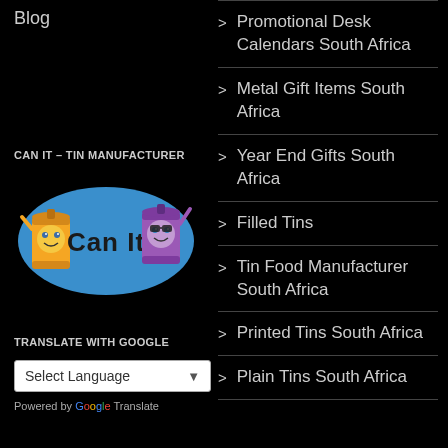Blog
CAN IT – TIN MANUFACTURER
[Figure (logo): Can It tin manufacturer logo with cartoon tin can characters and blue oval background]
TRANSLATE WITH GOOGLE
Select Language
Powered by Google Translate
Promotional Desk Calendars South Africa
Metal Gift Items South Africa
Year End Gifts South Africa
Filled Tins
Tin Food Manufacturer South Africa
Printed Tins South Africa
Plain Tins South Africa